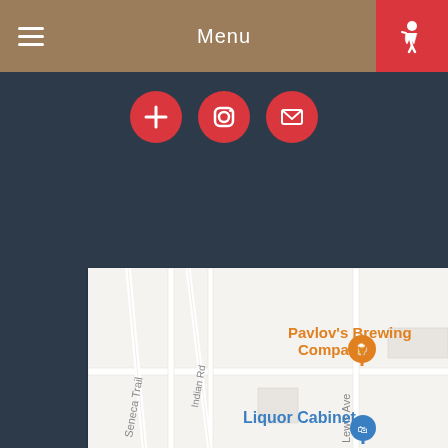Menu
[Figure (screenshot): Navigation bar with hamburger menu icon on left, 'Menu' text in center, red accessibility icon on right with wheelchair symbol]
[Figure (screenshot): Three red circular social media icons: Facebook (cross/plus icon), Instagram (camera icon), Email (envelope icon)]
[Figure (map): Google Maps screenshot showing area with markers: Pavlov's Brewing Company (orange pin with cocktail glass), Liquor Cabinet (blue pin with shopping bag), Smokehouse | 734 (orange pin with fork), Secretary of State (blue pin with building). Roads visible: Seneca Trail, Indian Rd, Lewis Ave, Gordon Dr, Timber Valley Dr, Twin Lakes. Streets and roads on light gray map background.]